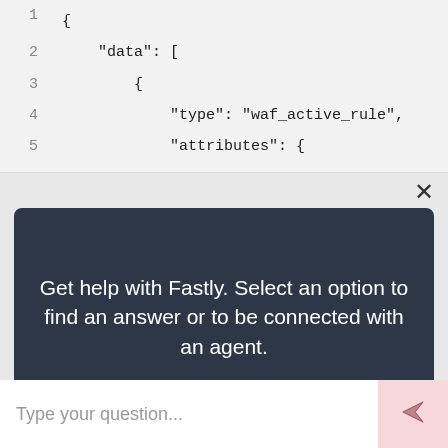[Figure (screenshot): Code block showing JSON with line numbers 1-5. Line 1: {, Line 2: "data": [, Line 3: {, Line 4: "type": "waf_active_rule",, Line 5: "attributes": {]
×
Get help with Fastly. Select an option to find an answer or to be connected with an agent.
Fastly setup
Trouble with service or account
Type your question...